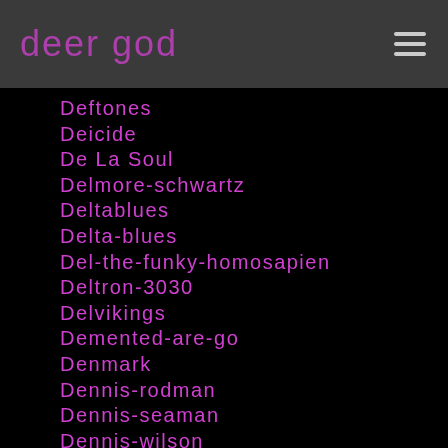deer god
Deftones
Deicide
De La Soul
Delmore-schwartz
Deltablues
Delta-blues
Del-the-funky-homosapien
Deltron-3030
Delvikings
Demented-are-go
Denmark
Dennis-rodman
Dennis-seaman
Dennis-wilson
Depeche Mode
Derek Jarman
Derrick-morgan